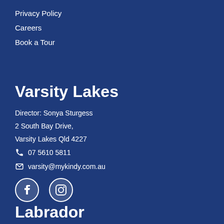Privacy Policy
Careers
Book a Tour
Varsity Lakes
Director: Sonya Sturgess
2 South Bay Drive,
Varsity Lakes Qld 4227
07 5610 5811
varsity@mykindy.com.au
[Figure (illustration): Facebook and Instagram social media icons in white circles]
Labrador